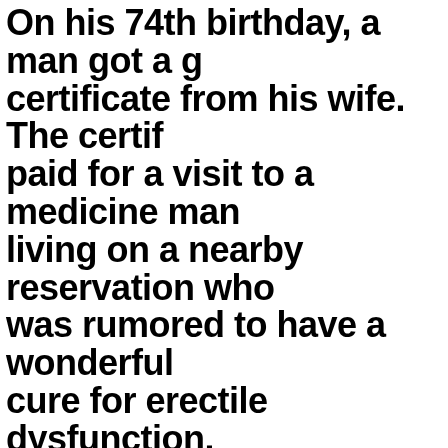On his 74th birthday, a man got a gift certificate from his wife. The certif paid for a visit to a medicine man living on a nearby reservation who was rumored to have a wonderful cure for erectile dysfunction.
Man goes to a doctor to get some help with "potency," but had no idea what he was...
If you'd like to see more jokes just like this one, please tell us!
Nicer Days
[Figure (photo): Photo of hands, person in red clothing and person in striped shirt, sharing/holding a red gift bag]
4 SHARES | Facebook | Twitter | Email | Pinterest | More